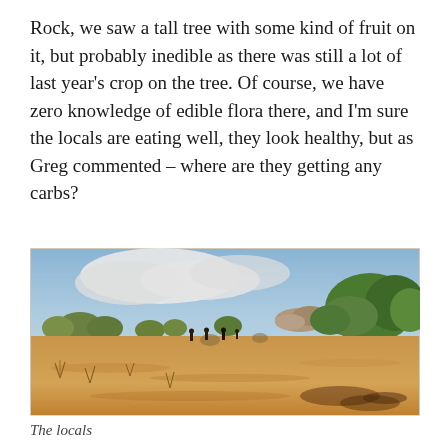Rock, we saw a tall tree with some kind of fruit on it, but probably inedible as there was still a lot of last year's crop on the tree. Of course, we have zero knowledge of edible flora there, and I'm sure the locals are eating well, they look healthy, but as Greg commented – where are they getting any carbs?
[Figure (photo): Landscape photo showing arid sandy ground in the foreground with sparse dry scrub, several people walking in the middle distance, rocky outcrops and green-leafed trees/bushes in the background under a partly cloudy sky.]
The locals